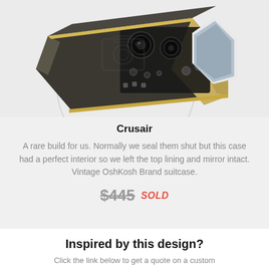[Figure (photo): Product photo of the Crusair — a vintage OshKosh brand suitcase converted into a device/amp, shown at an angle with a dark front panel featuring knobs and controls, with yellow/tan edges and a mirror/screen visible on the right side. A circular watermark/overlay is visible on the image.]
Crusair
A rare build for us. Normally we seal them shut but this case had a perfect interior so we left the top lining and mirror intact. Vintage OshKosh Brand suitcase.
$445 SOLD
Inspired by this design?
Click the link below to get a quote on a custom